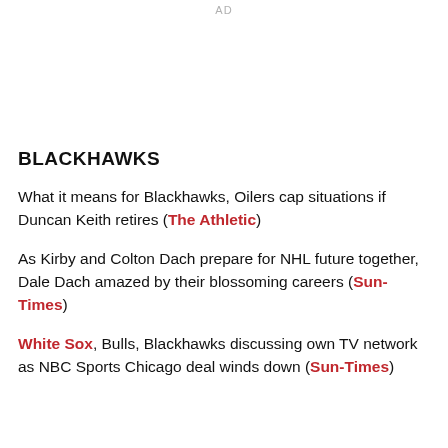AD
BLACKHAWKS
What it means for Blackhawks, Oilers cap situations if Duncan Keith retires (The Athletic)
As Kirby and Colton Dach prepare for NHL future together, Dale Dach amazed by their blossoming careers (Sun-Times)
White Sox, Bulls, Blackhawks discussing own TV network as NBC Sports Chicago deal winds down (Sun-Times)